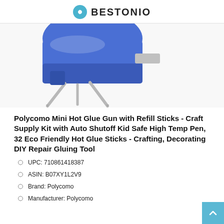BESTONIO
[Figure (photo): Close-up photo of a blue mini hot glue gun with metallic stand prongs, on white background]
Polycomo Mini Hot Glue Gun with Refill Sticks - Craft Supply Kit with Auto Shutoff Kid Safe High Temp Pen, 32 Eco Friendly Hot Glue Sticks - Crafting, Decorating DIY Repair Gluing Tool
UPC: 710861418387
ASIN: B07XY1L2V9
Brand: Polycomo
Manufacturer: Polycomo